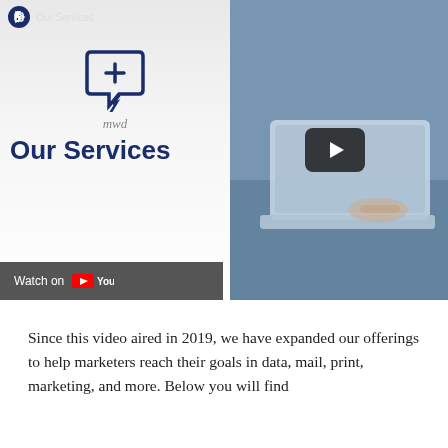[Figure (screenshot): YouTube video thumbnail for 'Our Services' by mwd. Left panel shows mwd logo (lightning bolt chat bubble with plus sign) and bold 'Our Services' text on light gradient background, with 'Watch on YouTube' button at bottom. Right panel shows a blue-tinted photo of hands on a laptop with a play button overlay.]
Since this video aired in 2019, we have expanded our offerings to help marketers reach their goals in data, mail, print, marketing, and more. Below you will find